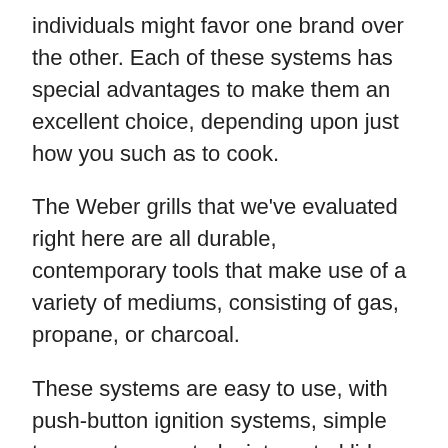individuals might favor one brand over the other. Each of these systems has special advantages to make them an excellent choice, depending upon just how you such as to cook.
The Weber grills that we've evaluated right here are all durable, contemporary tools that make use of a variety of mediums, consisting of gas, propane, or charcoal.
These systems are easy to use, with push-button ignition systems, simple temperature controls, integrated lid thermometers, as well as also IGrill 3 compatibility on a few of the devices.
They are likewise as easy to clean as they are to use. For these factors, the Weber grills are our recommended designs.